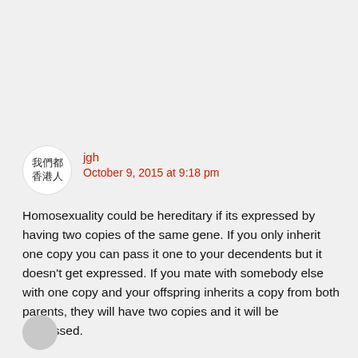[Figure (other): User avatar circle with Chinese characters 我們都香港人]
jgh
October 9, 2015 at 9:18 pm
Homosexuality could be hereditary if its expressed by having two copies of the same gene. If you only inherit one copy you can pass it one to your decendents but it doesn't get expressed. If you mate with somebody else with one copy and your offspring inherits a copy from both parents, they will have two copies and it will be expressed.